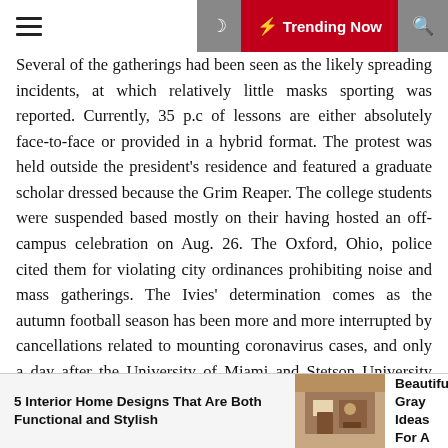Trending Now
Several of the gatherings had been seen as the likely spreading incidents, at which relatively little masks sporting was reported. Currently, 35 p.c of lessons are either absolutely face-to-face or provided in a hybrid format. The protest was held outside the president's residence and featured a graduate scholar dressed because the Grim Reaper. The college students were suspended based mostly on their having hosted an off-campus celebration on Aug. 26. The Oxford, Ohio, police cited them for violating city ordinances prohibiting noise and mass gatherings. The Ivies' determination comes as the autumn football season has been more and more interrupted by cancellations related to mounting coronavirus cases, and only a day after the University of Miami and Stetson University referred to as off their opening basketball game. The league was the first main conference to call off its fall sports season as nicely.
5 Interior Home Designs That Are Both Functional and Stylish
21 Beautiful Gray Ideas For A Tren